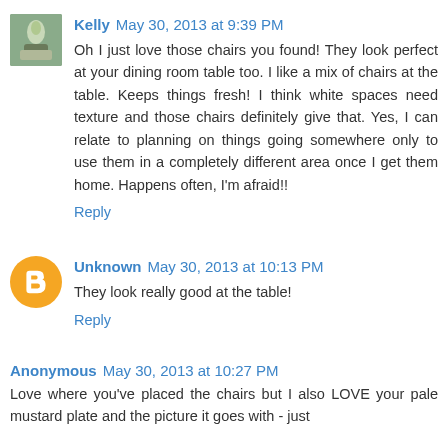Kelly May 30, 2013 at 9:39 PM
Oh I just love those chairs you found! They look perfect at your dining room table too. I like a mix of chairs at the table. Keeps things fresh! I think white spaces need texture and those chairs definitely give that. Yes, I can relate to planning on things going somewhere only to use them in a completely different area once I get them home. Happens often, I'm afraid!!
Reply
Unknown May 30, 2013 at 10:13 PM
They look really good at the table!
Reply
Anonymous May 30, 2013 at 10:27 PM
Love where you've placed the chairs but I also LOVE your pale mustard plate and the picture it goes with - just